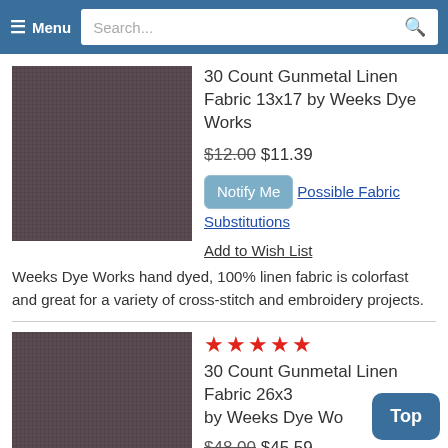☰ Menu | Search...
[Figure (photo): Dark gunmetal grey linen fabric swatch, 13x17 inches]
30 Count Gunmetal Linen Fabric 13x17 by Weeks Dye Works
$12.00 $11.39
Notify Me | Possible Fabric Substitutions
Add to Wish List
Weeks Dye Works hand dyed, 100% linen fabric is colorfast and great for a variety of cross-stitch and embroidery projects.
[Figure (photo): Dark gunmetal grey linen fabric swatch, 26x36 inches]
★★★★★
30 Count Gunmetal Linen Fabric 26x36 by Weeks Dye Works
$48.00 $45.59